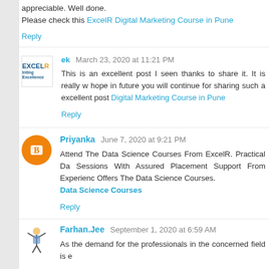appreciable. Well done.
Please check this ExcelR Digital Marketing Course in Pune
Reply
ek March 23, 2020 at 11:21 PM
This is an excellent post I seen thanks to share it. It is really w... hope in future you will continue for sharing such a excellent post... Digital Marketing Course in Pune
Reply
Priyanka June 7, 2020 at 9:21 PM
Attend The Data Science Courses From ExcelR. Practical Da... Sessions With Assured Placement Support From Experienc... Offers The Data Science Courses.
Data Science Courses
Reply
Farhan.Jee September 1, 2020 at 6:59 AM
As the demand for the professionals in the concerned field is e...